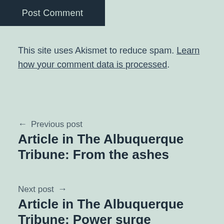[Figure (other): Dark navy button with text 'Post Comment']
This site uses Akismet to reduce spam. Learn how your comment data is processed.
← Previous post
Article in The Albuquerque Tribune: From the ashes
Next post →
Article in The Albuquerque Tribune: Power surge